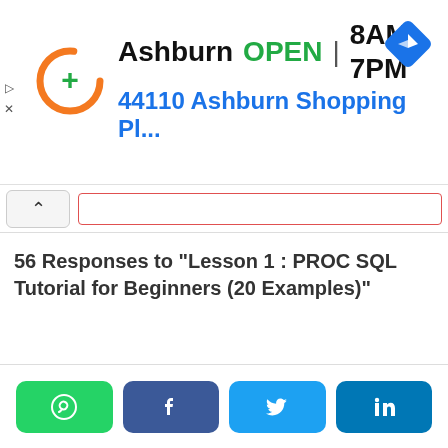[Figure (screenshot): Advertisement banner: Ashburn OPEN 8AM-7PM, 44110 Ashburn Shopping Pl... with orange circular logo with green plus sign and blue navigation diamond icon]
56 Responses to "Lesson 1 : PROC SQL Tutorial for Beginners (20 Examples)"
[Figure (infographic): Social share buttons: WhatsApp (green), Facebook (dark blue), Twitter (light blue), LinkedIn (teal blue)]